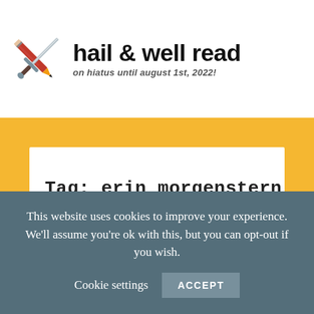[Figure (logo): Crossed sword and pencil forming an X logo for hail & well read blog]
hail & well read
on hiatus until august 1st, 2022!
Tag: erin morgenstern
This website uses cookies to improve your experience. We'll assume you're ok with this, but you can opt-out if you wish.
Cookie settings   ACCEPT